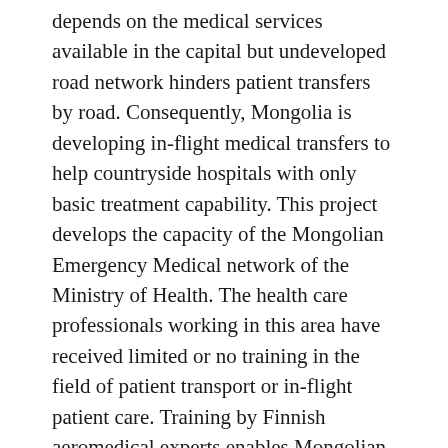depends on the medical services available in the capital but undeveloped road network hinders patient transfers by road. Consequently, Mongolia is developing in-flight medical transfers to help countryside hospitals with only basic treatment capability. This project develops the capacity of the Mongolian Emergency Medical network of the Ministry of Health. The health care professionals working in this area have received limited or no training in the field of patient transport or in-flight patient care. Training by Finnish aeromedical experts enables Mongolian doctors to make transport safe for patients requiring treatment in the capital. This increases the quality and capacity Mongolian medical and health infrastructure.Mongolian doctors lack current training in relevant aeromedical issues and in-flight patient care. The patient security is compromised when medical flights are requested to